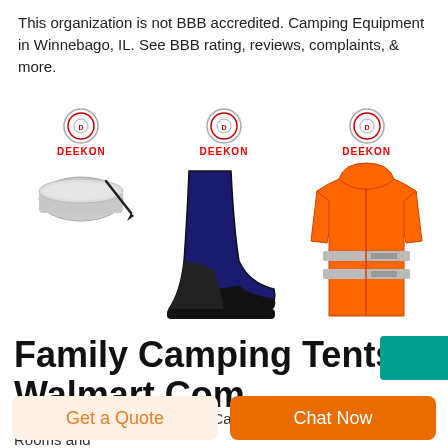This organization is not BBB accredited. Camping Equipment in Winnebago, IL. See BBB rating, reviews, complaints, & more.
[Figure (photo): Three product images with DEEKON brand logos: a silver metal lunch tin/case with pen, a navy blue high-top canvas safety boot, and an orange high-visibility reflective jacket.]
Family Camping Tents - Walmart.Com
Ozark Trail 10-Person Family Camping Tent with 3 Rooms and
Get a Quote
Chat Now